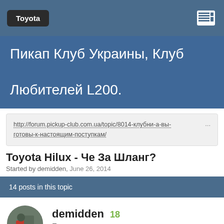Toyota
Пикап Клуб Украины, Клуб Любителей L200.
http://forum.pickup-club.com.ua/topic/8014-клубни-а-вы-готовы-к-настоящим-поступкам/
Toyota Hilux - Че За Шланг?
Started by demidden, June 26, 2014
14 posts in this topic
demidden 18 Пользователи 866 posts